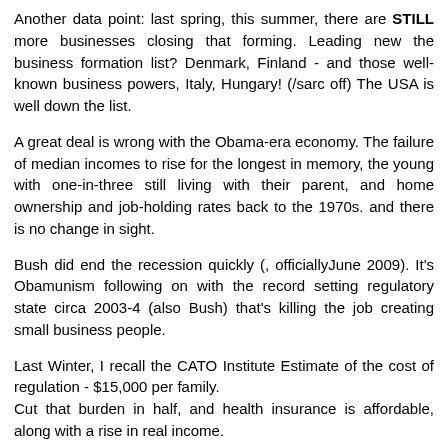Another data point: last spring, this summer, there are STILL more businesses closing that forming. Leading new the business formation list? Denmark, Finland - and those well-known business powers, Italy, Hungary! (/sarc off) The USA is well down the list.
A great deal is wrong with the Obama-era economy. The failure of median incomes to rise for the longest in memory, the young with one-in-three still living with their parent, and home ownership and job-holding rates back to the 1970s. and there is no change in sight.
Bush did end the recession quickly (, officiallyJune 2009). It's Obamunism following on with the record setting regulatory state circa 2003-4 (also Bush) that's killing the job creating small business people.
Last Winter, I recall the CATO Institute Estimate of the cost of regulation - $15,000 per family.
Cut that burden in half, and health insurance is affordable, along with a rise in real income.